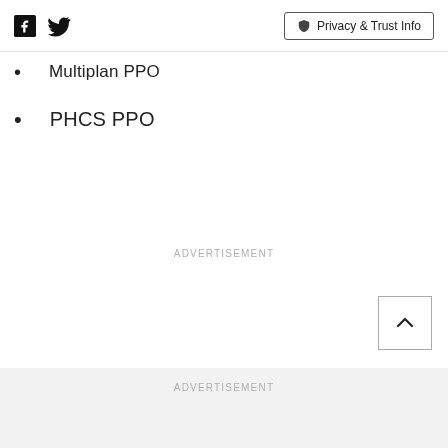Facebook Twitter | Privacy & Trust Info
Multiplan PPO
PHCS PPO
ADVERTISEMENT
ADVERTISEMENT